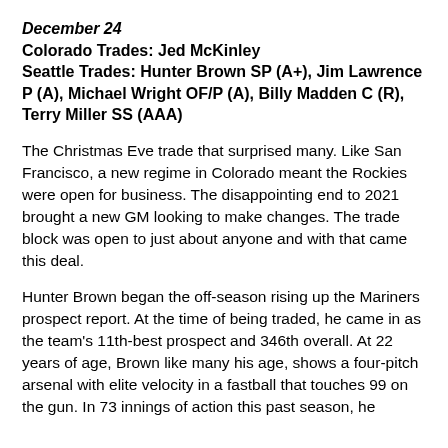December 24
Colorado Trades: Jed McKinley
Seattle Trades: Hunter Brown SP (A+), Jim Lawrence P (A), Michael Wright OF/P (A), Billy Madden C (R), Terry Miller SS (AAA)
The Christmas Eve trade that surprised many. Like San Francisco, a new regime in Colorado meant the Rockies were open for business. The disappointing end to 2021 brought a new GM looking to make changes. The trade block was open to just about anyone and with that came this deal.
Hunter Brown began the off-season rising up the Mariners prospect report. At the time of being traded, he came in as the team's 11th-best prospect and 346th overall. At 22 years of age, Brown like many his age, shows a four-pitch arsenal with elite velocity in a fastball that touches 99 on the gun. In 73 innings of action this past season, he